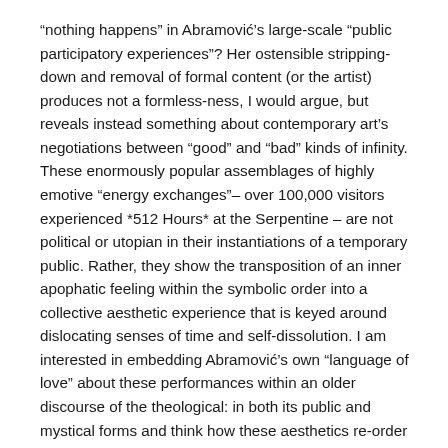“nothing happens” in Abramović’s large-scale “public participatory experiences”? Her ostensible stripping-down and removal of formal content (or the artist) produces not a formless-ness, I would argue, but reveals instead something about contemporary art’s negotiations between “good” and “bad” kinds of infinity. These enormously popular assemblages of highly emotive “energy exchanges”– over 100,000 visitors experienced *512 Hours* at the Serpentine – are not political or utopian in their instantiations of a temporary public. Rather, they show the transposition of an inner apophatic feeling within the symbolic order into a collective aesthetic experience that is keyed around dislocating senses of time and self-dissolution. I am interested in embedding Abramović’s own “language of love” about these performances within an older discourse of the theological: in both its public and mystical forms and think how these aesthetics re-order affect and sense experience under contemporary conditions.